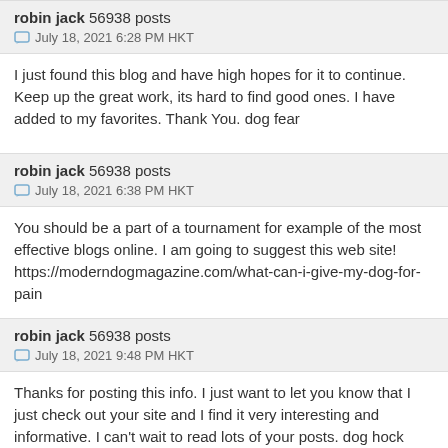robin jack 56938 posts
July 18, 2021 6:28 PM HKT
I just found this blog and have high hopes for it to continue. Keep up the great work, its hard to find good ones. I have added to my favorites. Thank You. dog fear
robin jack 56938 posts
July 18, 2021 6:38 PM HKT
You should be a part of a tournament for example of the most effective blogs online. I am going to suggest this web site! https://moderndogmagazine.com/what-can-i-give-my-dog-for-pain
robin jack 56938 posts
July 18, 2021 9:48 PM HKT
Thanks for posting this info. I just want to let you know that I just check out your site and I find it very interesting and informative. I can't wait to read lots of your posts. dog hock brace